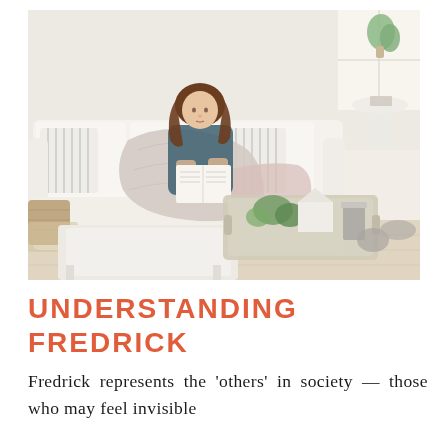[Figure (photo): A young girl with long brown hair sitting on a large white sofa, wrapped in a light grey blanket, reading a book. The living room has a white coffee table with a decorative tray containing greenery and a candle. A wicker basket is visible to the left, and a small round side table is in the upper right.]
UNDERSTANDING FREDRICK
Fredrick represents the 'others' in society — those who may feel invisible